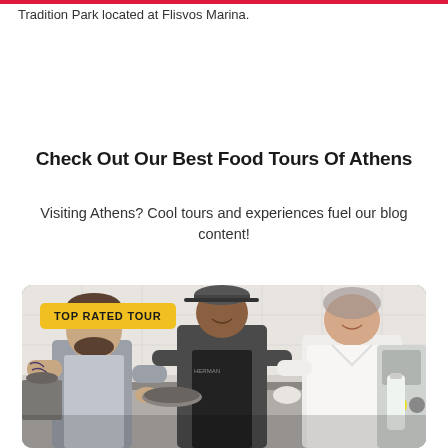Tradition Park located at Flisvos Marina.
Check Out Our Best Food Tours Of Athens
Visiting Athens? Cool tours and experiences fuel our blog content!
[Figure (photo): Three people working in a professional kitchen — a tattooed man in a grey apron, a man in a black apron and cap, and a woman in a white chef's coat with a hairnet. They are smiling and preparing food together. A yellow badge overlay reads 'TOP RATED TOUR'.]